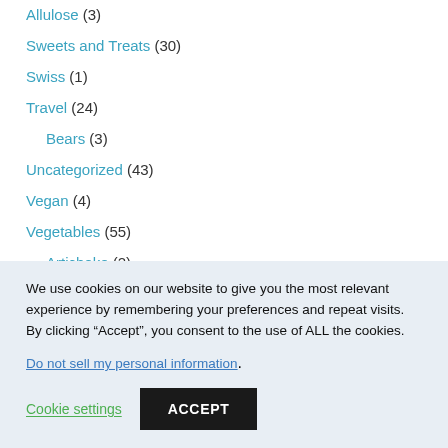Allulose (3)
Sweets and Treats (30)
Swiss (1)
Travel (24)
Bears (3)
Uncategorized (43)
Vegan (4)
Vegetables (55)
Artichoke (2)
Beans and Legumes (2)
Cabbage (2)
Cauliflower (4)
We use cookies on our website to give you the most relevant experience by remembering your preferences and repeat visits. By clicking “Accept”, you consent to the use of ALL the cookies.
Do not sell my personal information.
Cookie settings
ACCEPT